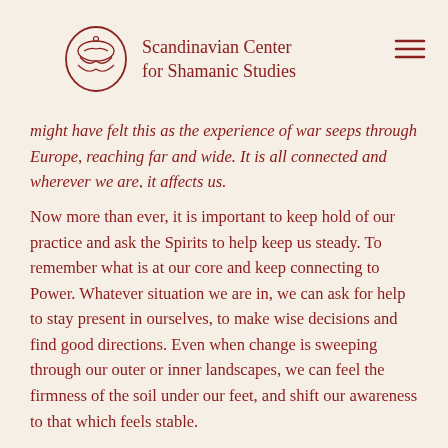Scandinavian Center for Shamanic Studies
might have felt this as the experience of war seeps through Europe, reaching far and wide. It is all connected and wherever we are, it affects us.
Now more than ever, it is important to keep hold of our practice and ask the Spirits to help keep us steady. To remember what is at our core and keep connecting to Power. Whatever situation we are in, we can ask for help to stay present in ourselves, to make wise decisions and find good directions. Even when change is sweeping through our outer or inner landscapes, we can feel the firmness of the soil under our feet, and shift our awareness to that which feels stable.
Sometimes you just have to find one thing – one thing that helps you to keep your balance, that helps you to stay in